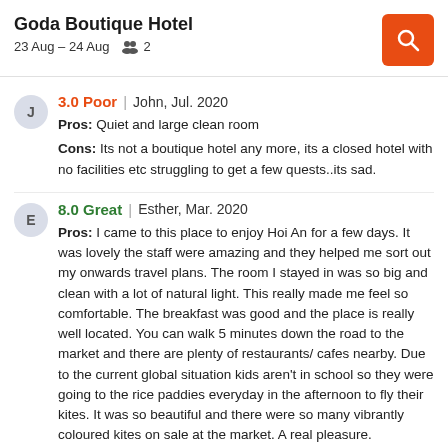Goda Boutique Hotel | 23 Aug – 24 Aug | 2 guests
3.0 Poor | John, Jul. 2020 | Pros: Quiet and large clean room | Cons: Its not a boutique hotel any more, its a closed hotel with no facilities etc struggling to get a few quests..its sad.
8.0 Great | Esther, Mar. 2020 | Pros: I came to this place to enjoy Hoi An for a few days. It was lovely the staff were amazing and they helped me sort out my onwards travel plans. The room I stayed in was so big and clean with a lot of natural light. This really made me feel so comfortable. The breakfast was good and the place is really well located. You can walk 5 minutes down the road to the market and there are plenty of restaurants/ cafes nearby. Due to the current global situation kids aren't in school so they were going to the rice paddies everyday in the afternoon to fly their kites. It was so beautiful and there were so many vibrantly coloured kites on sale at the market. A real pleasure. | Cons: My only issue was the toilet at the swimming pool